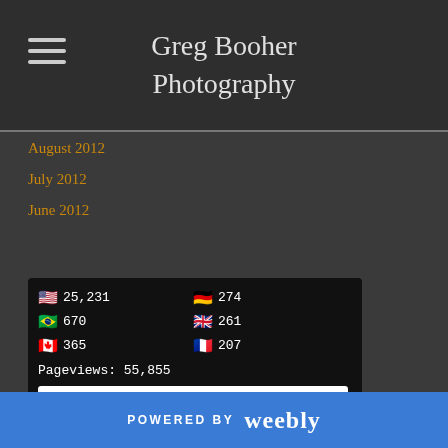Greg Booher Photography
August 2012
July 2012
June 2012
[Figure (infographic): Flag Counter widget showing visitor counts by country: US 25,231, Germany 274, Brazil 670, UK 261, Canada 365, France 207. Pageviews: 55,855. FLAG counter branding.]
RSS Feed
POWERED BY weebly